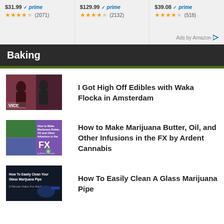$31.99 prime (2071) | $129.99 prime (2132) | $39.08 prime (518)
Ads by Amazon
Baking
[Figure (photo): Thumbnail of video: I Got High Off Edibles with Waka Flocka in Amsterdam]
I Got High Off Edibles with Waka Flocka in Amsterdam
[Figure (photo): Thumbnail for: How to Make Marijuana Butter, Oil, and Other Infusions in the FX by Ardent Cannabis]
How to Make Marijuana Butter, Oil, and Other Infusions in the FX by Ardent Cannabis
[Figure (photo): Thumbnail for: How To Easily Clean A Glass Marijuana Pipe, 2 Minute Video For Adults]
How To Easily Clean A Glass Marijuana Pipe